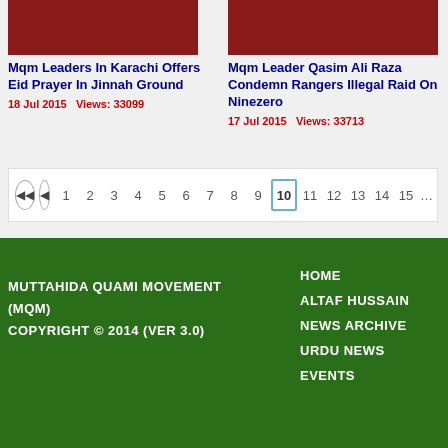[Figure (photo): Red/dark thumbnail image for MQM Karachi Eid Prayer article]
Mqm Leaders In Karachi Offers Eid Prayer In Jinnah Ground
18 Jul 2015   Views: 33099
[Figure (photo): Red/dark thumbnail image for MQM Qasim Ali Raza article]
Mqm Leader Qasim Ali Raza Condemn Rangers Illegal Raid On Ninezero
17 Jul 2015   Views: 33713
Pagination: 1 2 3 4 5 6 7 8 9 10 (active) 11 12 13 14 15 …
MUTTAHIDA QUAMI MOVEMENT (MQM) COPYRIGHT © 2014 (VER 3.0)
HOME
ALTAF HUSSAIN
NEWS ARCHIVE
URDU NEWS
EVENTS